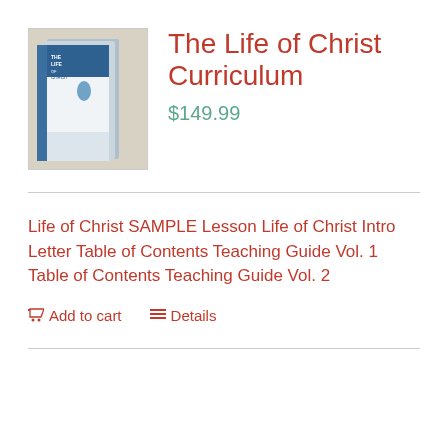[Figure (photo): Photo of The Life of Christ curriculum books stacked together, showing blue and white cover with footprint icon and text 'THE LIFE OF CHRIST']
The Life of Christ Curriculum
$149.99
Life of Christ SAMPLE Lesson Life of Christ Intro Letter Table of Contents Teaching Guide Vol. 1 Table of Contents Teaching Guide Vol. 2
Add to cart   Details